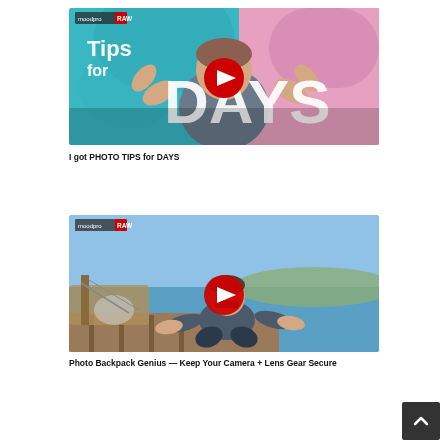[Figure (screenshot): YouTube video thumbnail – man with hands raised in front of colorful background with large text 'Tips for DAYS' and YouTube play button overlay. Small channel logo in top left corner.]
I got PHOTO TIPS for DAYS
[Figure (screenshot): YouTube video thumbnail – man crouching on a dock near water and a boat, wearing sunglasses, with YouTube play button overlay. Small channel logo in top left corner.]
Photo Backpack Genius — Keep Your Camera + Lens Gear Secure